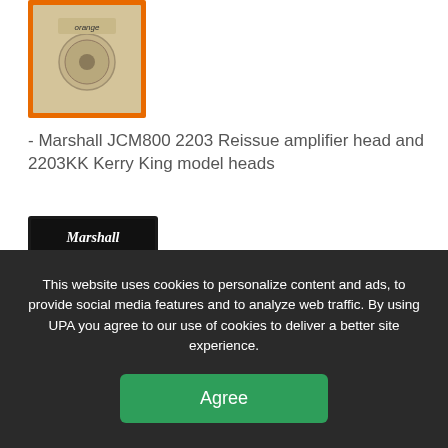[Figure (photo): Orange guitar amplifier cabinet with orange tolex covering and cream/tan speaker grille cloth, with Orange logo visible]
- Marshall JCM800 2203 Reissue amplifier head and 2203KK Kerry King model heads
[Figure (photo): Black Marshall amplifier head unit with gold Marshall script logo on black tolex, gold control panel with knobs]
- Mills Acoustics Afterburner 4x12 cabs with celestion Vintage 30 speakers (x2)
This website uses cookies to personalize content and ads, to provide social media features and to analyze web traffic. By using UPA you agree to our use of cookies to deliver a better site experience.